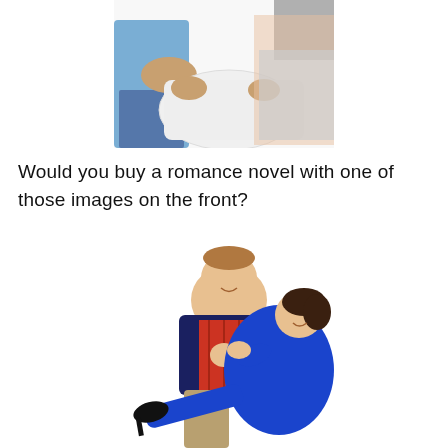[Figure (photo): Partial view of two people, one in blue shirt, holding or grasping something white, cropped image showing torsos and hands.]
Would you buy a romance novel with one of those images on the front?
[Figure (photo): A heavy-set man in a navy blazer and red plaid shirt lifting a smiling woman in a bright blue dress, both posed playfully on white background.]